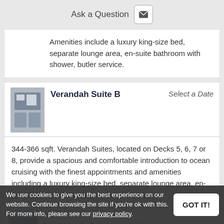Ask a Question
Amenities include a luxury king-size bed, separate lounge area, en-suite bathroom with shower, butler service.
Verandah Suite B
Select a Date
344-366 sqft. Verandah Suites, located on Decks 5, 6, 7 or 8, provide a spacious and comfortable introduction to ocean cruising with the finest appointments and amenities including a luxury king-size bed, separate lounge area, en-suite bathroom with shower, butler service.
We use cookies to give you the best experience on our website. Continue browsing the site if you're ok with this. For more info, please see our privacy policy.
344-366 sqft. Deluxe Verandah Suites